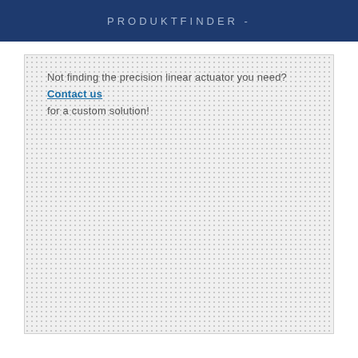PRODUKTFINDER -
Not finding the precision linear actuator you need? Contact us for a custom solution!